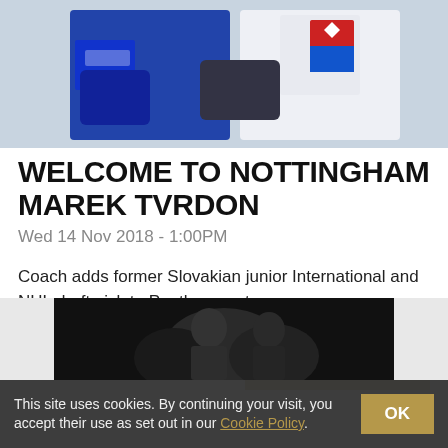[Figure (photo): Hockey players in blue and white jerseys, one wearing a Slovak national team jersey with the coat of arms shield, shaking hands or in close contact on ice]
WELCOME TO NOTTINGHAM MAREK TVRDON
Wed 14 Nov 2018 - 1:00PM
Coach adds former Slovakian junior International and NHL draft pick to Panthers roster
READ MORE
[Figure (photo): Partially visible photo at bottom of page, dark background with human figures]
This site uses cookies. By continuing your visit, you accept their use as set out in our Cookie Policy.